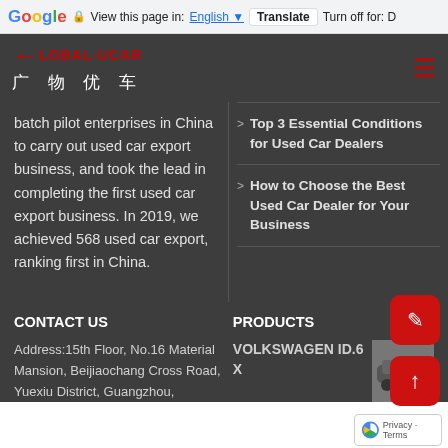Google Translate bar — View this page in: English | Translate | Turn off for: D
[Figure (logo): Global-UCAR company logo with red arrow and Chinese characters 广物优车]
batch pilot enterprises in China to carry out used car export business, and took the lead in completing the first used car export business. In 2019, we achieved 568 used car export, ranking first in China.
> Top 3 Essential Conditions for Used Car Dealers
> How to Choose the Best Used Car Dealer for Your Business
CONTACT US
PRODUCTS
Address:15th Floor, No.16 Material Mansion, Beijiaochang Cross Road, Yuexiu District, Guangzhou,
VOLKSWAGEN ID.6 X